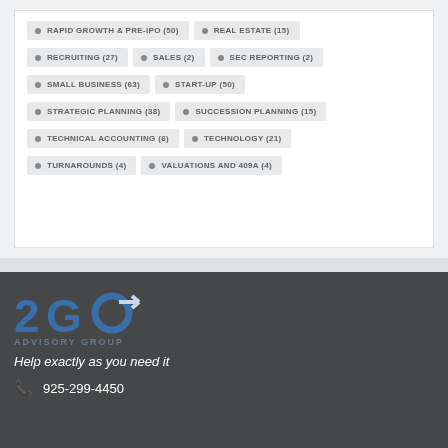RAPID GROWTH & PRE-IPO (50)
REAL ESTATE (15)
RECRUITING (27)
SALES (2)
SEC REPORTING (2)
SMALL BUSINESS (63)
START-UP (50)
STRATEGIC PLANNING (38)
SUCCESSION PLANNING (15)
TECHNICAL ACCOUNTING (6)
TECHNOLOGY (21)
TURNAROUNDS (4)
VALUATIONS AND 409A (4)
[Figure (logo): 2GO Advisory Group logo with blue stylized text and arrow]
Help exactly as you need it
925-299-4450